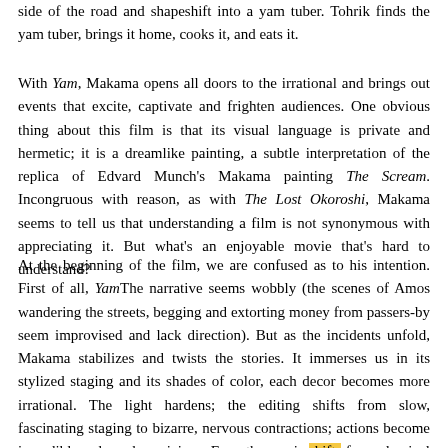side of the road and shapeshift into a yam tuber. Tohrik finds the yam tuber, brings it home, cooks it, and eats it.
With Yam, Makama opens all doors to the irrational and brings out events that excite, captivate and frighten audiences. One obvious thing about this film is that its visual language is private and hermetic; it is a dreamlike painting, a subtle interpretation of the replica of Edvard Munch's Makama painting The Scream. Incongruous with reason, as with The Lost Okoroshi, Makama seems to tell us that understanding a film is not synonymous with appreciating it. But what's an enjoyable movie that's hard to understand?
At the beginning of the film, we are confused as to his intention. First of all, YamThe narrative seems wobbly (the scenes of Amos wandering the streets, begging and extorting money from passers-by seem improvised and lack direction). But as the incidents unfold, Makama stabilizes and twists the stories. It immerses us in its stylized staging and its shades of color, each decor becomes more irrational. The light hardens; the editing shifts from slow, fascinating staging to bizarre, nervous contractions; actions become incredibly ugly and pernicious. Even the music shifts from classical to woozy, booming, jarring ones and culminates in a more